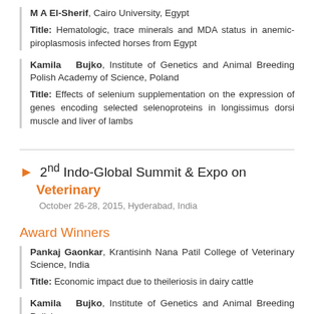M A El-Sherif, Cairo University, Egypt
Title: Hematologic, trace minerals and MDA status in anemic-piroplasmosis infected horses from Egypt
Kamila Bujko, Institute of Genetics and Animal Breeding Polish Academy of Science, Poland
Title: Effects of selenium supplementation on the expression of genes encoding selected selenoproteins in longissimus dorsi muscle and liver of lambs
2nd Indo-Global Summit & Expo on Veterinary October 26-28, 2015, Hyderabad, India
Award Winners
Pankaj Gaonkar, Krantisinh Nana Patil College of Veterinary Science, India
Title: Economic impact due to theileriosis in dairy cattle
Kamila Bujko, Institute of Genetics and Animal Breeding Polish